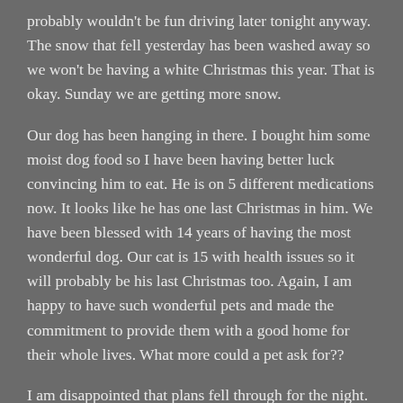probably wouldn't be fun driving later tonight anyway. The snow that fell yesterday has been washed away so we won't be having a white Christmas this year. That is okay. Sunday we are getting more snow.
Our dog has been hanging in there. I bought him some moist dog food so I have been having better luck convincing him to eat. He is on 5 different medications now. It looks like he has one last Christmas in him. We have been blessed with 14 years of having the most wonderful dog. Our cat is 15 with health issues so it will probably be his last Christmas too. Again, I am happy to have such wonderful pets and made the commitment to provide them with a good home for their whole lives. What more could a pet ask for??
I am disappointed that plans fell through for the night.